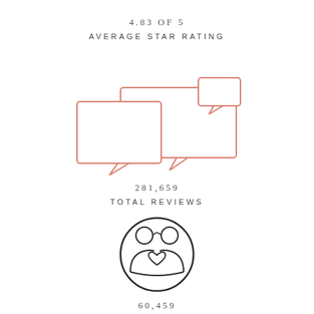4.83 OF 5
AVERAGE STAR RATING
[Figure (illustration): Two overlapping speech bubble icons in salmon/coral outline style]
281,659
TOTAL REVIEWS
[Figure (illustration): Circular icon with two people/couple silhouettes and a heart, in dark outline style]
60,459